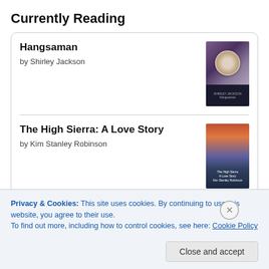Currently Reading
[Figure (screenshot): Book entry for Hangsaman by Shirley Jackson with book cover thumbnail]
[Figure (screenshot): Book entry for The High Sierra: A Love Story by Kim Stanley Robinson with book cover thumbnail]
[Figure (logo): goodreads logo button]
Privacy & Cookies: This site uses cookies. By continuing to use this website, you agree to their use. To find out more, including how to control cookies, see here: Cookie Policy
Close and accept